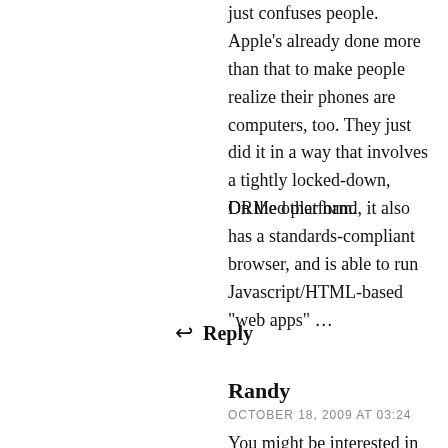just confuses people. Apple's already done more than that to make people realize their phones are computers, too. They just did it in a way that involves a tightly locked-down, DRMed platform.
On the other hand, it also has a standards-compliant browser, and is able to run Javascript/HTML-based "web apps" …
↩ Reply
Randy
OCTOBER 18, 2009 AT 03:24
You might be interested in seeing what Nokia is doing and how its evolving into 'open' ever since it bought Trolltech.
I won't argue its open right now, though the newest Maemo is close but there certainly is a